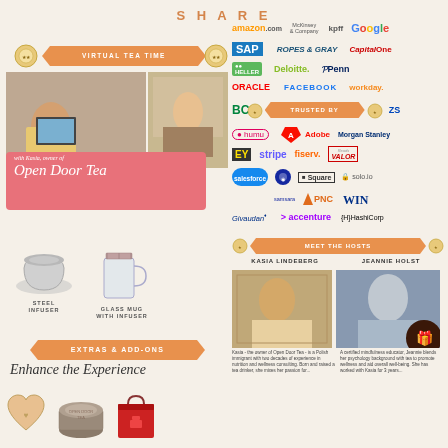SHARE
[Figure (infographic): Virtual Tea Time promotional graphic with banner, photos of tea session, and Open Door Tea overlay]
[Figure (infographic): Company logos trusted by section including Amazon, Google, SAP, McKinsey, Deloitte, Facebook, Salesforce, Accenture and many others]
[Figure (infographic): Extras & Add-ons section showing steel infuser and glass mug with infuser products]
Enhance the Experience
[Figure (infographic): Meet the Hosts section with photos and bios of Kasia Lindeberg and Jeannie Holst]
KASIA LINDEBERG
JEANNIE HOLST
Kasia - the owner of Open Door Tea - is a Polish immigrant with two decades of experience in nutrition and wellness consulting. Born and raised a tea drinker, she mixes her passion for...
A certified mindfulness educator, Jeannie blends her psychology background with tea to promote wellness and aid overall well-being. She has worked with Kasia for 3 years...